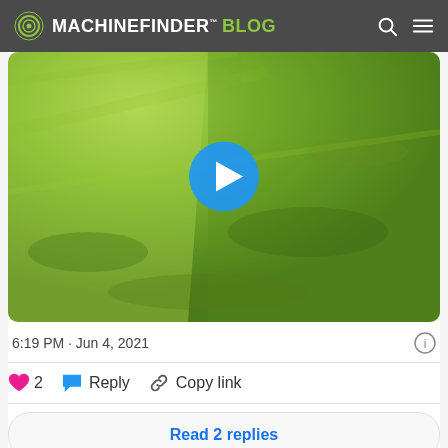MACHINEFINDER BLOG
[Figure (photo): Video thumbnail showing a close-up aerial view of mowed green grass with a blue play button circle overlay in the center]
6:19 PM · Jun 4, 2021
♥ 2  Reply  Copy link
Read 2 replies